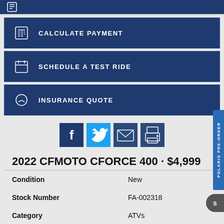CALCULATE PAYMENT
SCHEDULE A TEST RIDE
INSURANCE QUOTE
[Figure (other): Social media share icons: Facebook, Twitter, Email, Print]
2022 CFMOTO CFORCE 400 · $4,999
| Condition | New |
| Stock Number | FA-002318 |
| Category | ATVs |